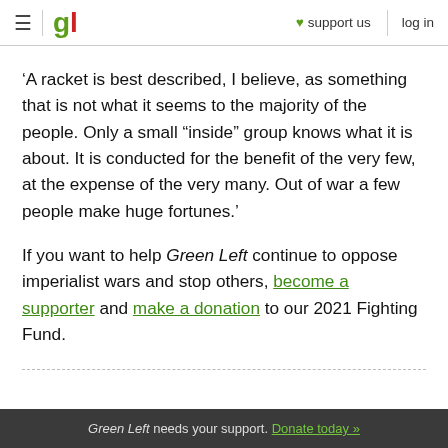gl | support us | log in
‘A racket is best described, I believe, as something that is not what it seems to the majority of the people. Only a small “inside” group knows what it is about. It is conducted for the benefit of the very few, at the expense of the very many. Out of war a few people make huge fortunes.’
If you want to help Green Left continue to oppose imperialist wars and stop others, become a supporter and make a donation to our 2021 Fighting Fund.
Green Left needs your support. Donate today »